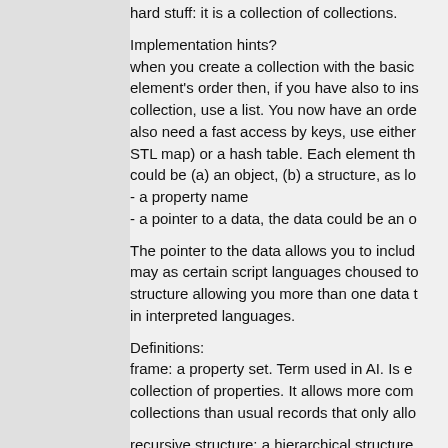hard stuff: it is a collection of collections.
Implementation hints?
when you create a collection with the basic element's order then, if you have also to ins collection, use a list. You now have an orde also need a fast access by keys, use either STL map) or a hash table. Each element th could be (a) an object, (b) a structure, as lo
- a property name
- a pointer to a data, the data could be an o
The pointer to the data allows you to includ may as certain script languages choused to structure allowing you more than one data t in interpreted languages.
Definitions:
frame: a property set. Term used in AI. Is e collection of properties. It allows more com collections than usual records that only allo
recursive structure: a hierarchical structure recursive structure if it is constructed with t instance, a Grove structure is a recursive s